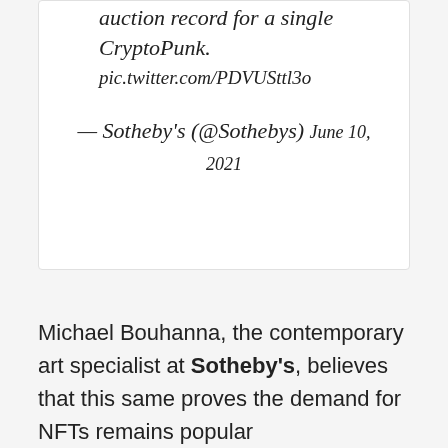auction record for a single CryptoPunk. pic.twitter.com/PDVUSttl3o
— Sotheby's (@Sothebys) June 10, 2021
Michael Bouhanna, the contemporary art specialist at Sotheby's, believes that this same proves the demand for NFTs remains popular